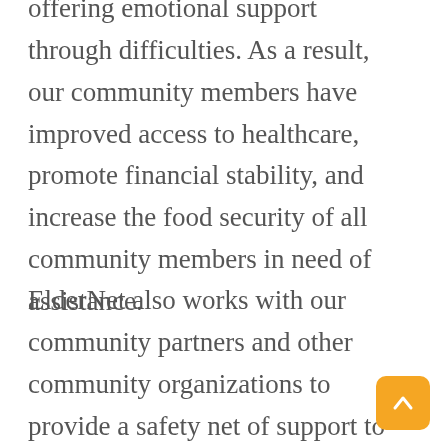offering emotional support through difficulties. As a result, our community members have improved access to healthcare, promote financial stability, and increase the food security of all community members in need of assistance.
ElderNet also works with our community partners and other community organizations to provide a safety net of support to our neighbors and remains on call with Lower Merion Police Department and Narberth Borough Police